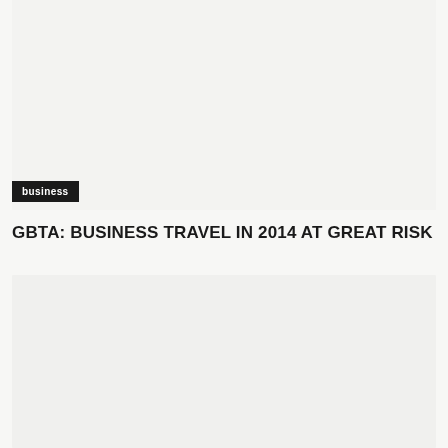[Figure (photo): Large image placeholder at top of page, light gray background]
business
GBTA: BUSINESS TRAVEL IN 2014 AT GREAT RISK
[Figure (photo): Second image placeholder below the title, light gray background]